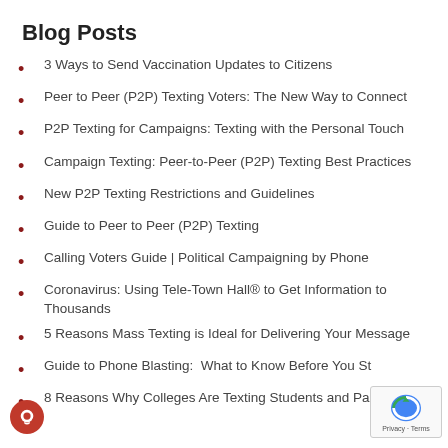Blog Posts
3 Ways to Send Vaccination Updates to Citizens
Peer to Peer (P2P) Texting Voters: The New Way to Connect
P2P Texting for Campaigns: Texting with the Personal Touch
Campaign Texting: Peer-to-Peer (P2P) Texting Best Practices
New P2P Texting Restrictions and Guidelines
Guide to Peer to Peer (P2P) Texting
Calling Voters Guide | Political Campaigning by Phone
Coronavirus: Using Tele-Town Hall® to Get Information to Thousands
5 Reasons Mass Texting is Ideal for Delivering Your Message
Guide to Phone Blasting:  What to Know Before You St…
8 Reasons Why Colleges Are Texting Students and Pa…